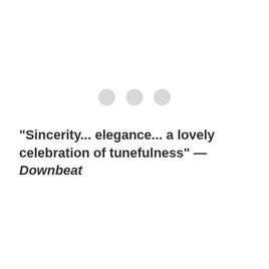[Figure (other): Three light gray circles arranged horizontally, resembling a loading indicator or decorative dots]
"Sincerity... elegance... a lovely celebration of tunefulness" — Downbeat